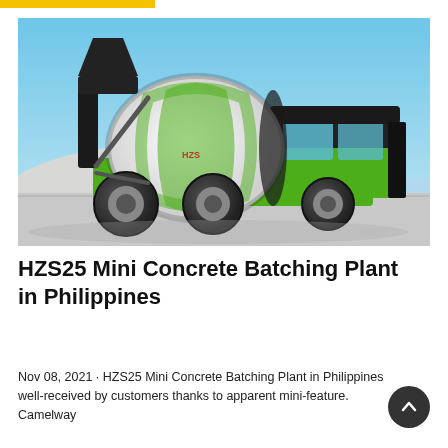[Figure (photo): A green and black self-loading concrete mixer truck (HZS25 Mini Concrete Batching Plant) photographed against a blue sky, with a large white rotating drum and green body, parked in front of a pile of white aggregate/gravel.]
HZS25 Mini Concrete Batching Plant in Philippines
Nov 08, 2021 · HZS25 Mini Concrete Batching Plant in Philippines well-received by customers thanks to apparent mini-feature. Camelway